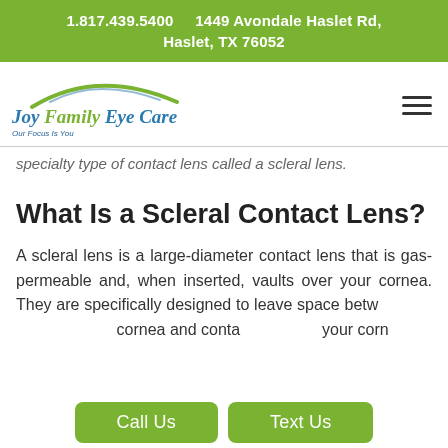1.817.439.5400    1449 Avondale Haslet Rd, Haslet, TX 76052
[Figure (logo): Joy Family Eye Care logo with green arc above text and tagline 'Our Focus Is You']
specialty type of contact lens called a scleral lens.
What Is a Scleral Contact Lens?
A scleral lens is a large-diameter contact lens that is gas-permeable and, when inserted, vaults over your cornea. They are specifically designed to leave space between the lens and your corn...